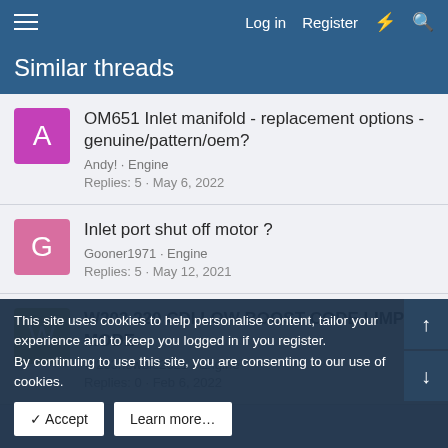Log in  Register
Similar threads
OM651 Inlet manifold - replacement options - genuine/pattern/oem?
Andy! · Engine
Replies: 5 · May 6, 2022
Inlet port shut off motor ?
Gooner1971 · Engine
Replies: 5 · May 12, 2021
W203 220 CDI LOW BOOST CODE LIMP MODE
W203newbie2021 · Engine
Replies: 0 · Feb 6, 2022
This site uses cookies to help personalise content, tailor your experience and to keep you logged in if you register.
By continuing to use this site, you are consenting to our use of cookies.